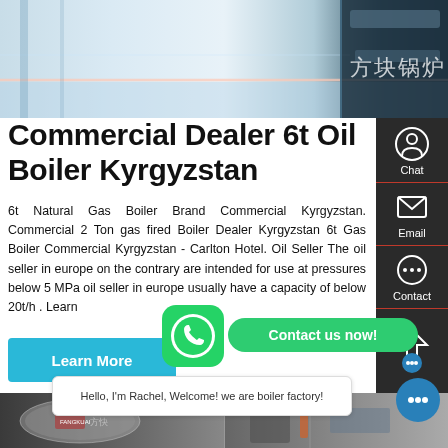[Figure (photo): Industrial boiler facility interior photo showing blue/white metallic surfaces and Chinese text (方块锅炉) on the right side]
Commercial Dealer 6t Oil Boiler Kyrgyzstan
6t Natural Gas Boiler Brand Commercial Kyrgyzstan. Commercial 2 Ton gas fired Boiler Dealer Kyrgyzstan 6t Gas Boiler Commercial Kyrgyzstan - Carlton Hotel. Oil Seller The oil seller in europe on the contrary are intended for use at pressures below 5 MPa oil seller in europe usually have a capacity of below 20t/h . Learn More
[Figure (photo): Two industrial boilers in factory setting - left shows cylindrical silver boiler with Chinese branding (方快/FANGKUAI), right shows industrial boiler equipment in dark space]
Hello, I'm Rachel, Welcome! we are boiler factory!